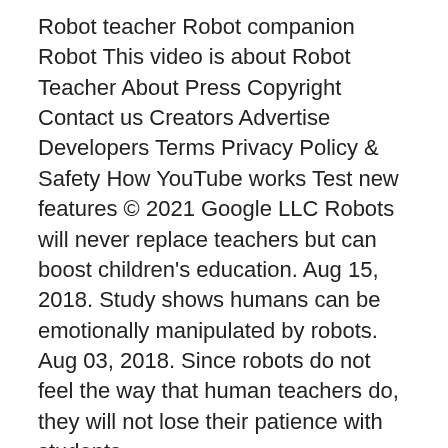Robot teacher Robot companion Robot This video is about Robot Teacher About Press Copyright Contact us Creators Advertise Developers Terms Privacy Policy & Safety How YouTube works Test new features © 2021 Google LLC Robots will never replace teachers but can boost children's education. Aug 15, 2018. Study shows humans can be emotionally manipulated by robots. Aug 03, 2018. Since robots do not feel the way that human teachers do, they will not lose their patience with students.
Levis vintage jeans
126 online Robotics teachers for personal tutoring & assignment help. WhatsApp, message & call Robotics teachers from 125 countries. Hitta stockbilder i HD på robot teacher och miliontals